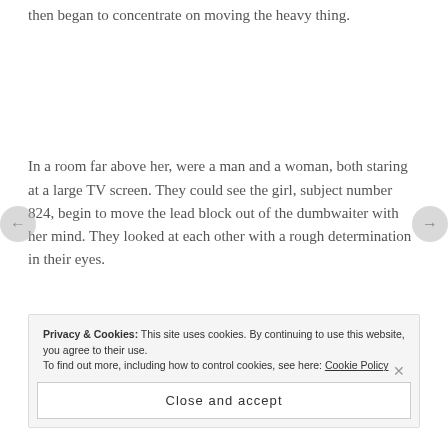then began to concentrate on moving the heavy thing.
In a room far above her, were a man and a woman, both staring at a large TV screen. They could see the girl, subject number 824, begin to move the lead block out of the dumbwaiter with her mind. They looked at each other with a rough determination in their eyes.
Privacy & Cookies: This site uses cookies. By continuing to use this website, you agree to their use. To find out more, including how to control cookies, see here: Cookie Policy
Close and accept